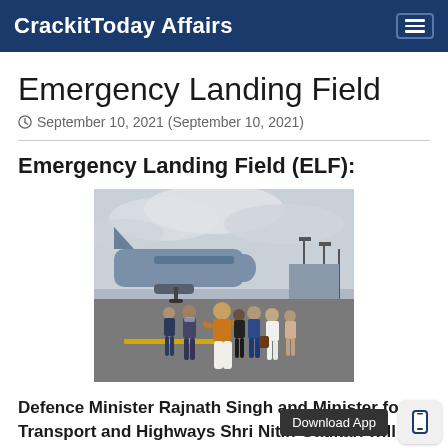CrackitToday Affairs
Emergency Landing Field
September 10, 2021 (September 10, 2021)
Emergency Landing Field (ELF):
[Figure (photo): Group of officials including a man in traditional Indian attire (dhoti kurta with golden vest) walking on an airport tarmac with a private jet in the background. Several other people including security personnel in masks are visible.]
Defence Minister Rajnath Singh and Minister for Transport and Highways Shri Nitin Gadkari will